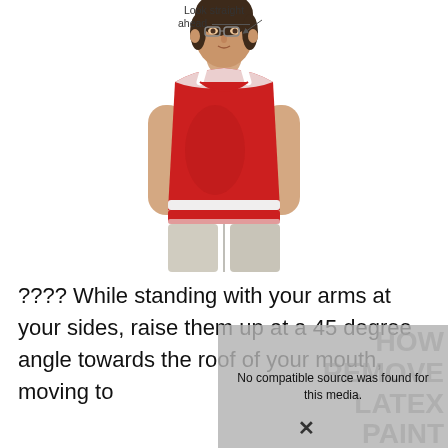[Figure (illustration): Illustrated diagram of a woman standing upright, facing forward, wearing a red tank top and light grey pants. A label reads 'Look straight ahead' with an arrow pointing to her head/eye level.]
???? While standing with your arms at your sides, raise them up at a 45 degree angle towards the roof of your mouth, moving to
No compatible source was found for this media.